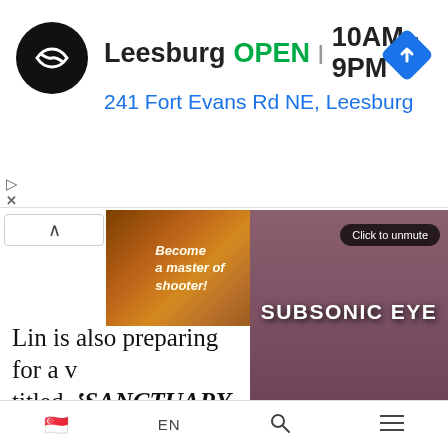[Figure (screenshot): Google Maps / store listing ad showing Leesburg store: logo, OPEN status, hours 10AM-9PM, address 241 Fort Evans Rd NE Leesburg, navigation icon]
Leesburg  OPEN  10AM–9PM
241 Fort Evans Rd NE, Leesburg
[Figure (screenshot): Game advertisement banner: 'Become a master of shooter!' with Download Now button on orange background]
[Figure (screenshot): Video player overlay showing Subsonic Eye band performance with Click to unmute button and pause/play controls and View profile button]
Lin is also preparing for a v titled ‘SANCTUARY FINA’ streaming on 6 June, the ev rescheduled till further not due to the worsening COV…
[Figure (screenshot): jjlin Instagram profile avatar thumbnail with username jjlin and verified checkmark]
🇸🇬  EN  🔍  ≡